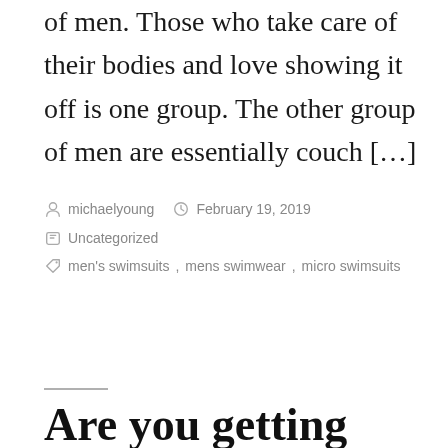of men. Those who take care of their bodies and love showing it off is one group. The other group of men are essentially couch […]
Posted by michaelyoung  February 19, 2019
Posted in Uncategorized
Tags men's swimsuits, mens swimwear, micro swimsuits
Are you getting ready